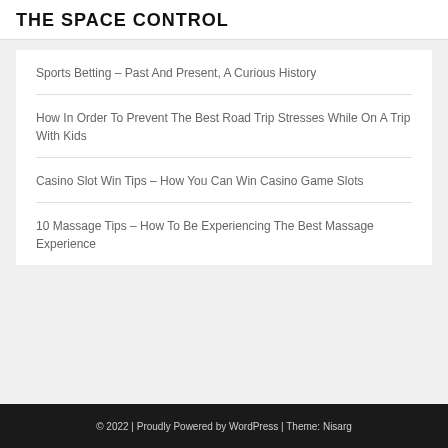THE SPACE CONTROL
Sports Betting – Past And Present, A Curious History
How In Order To Prevent The Best Road Trip Stresses While On A Trip With Kids
Casino Slot Win Tips – How You Can Win Casino Game Slots
10 Massage Tips – How To Be Experiencing The Best Massage Experience
© 2022 | Proudly Powered by WordPress | Theme: Nisarg